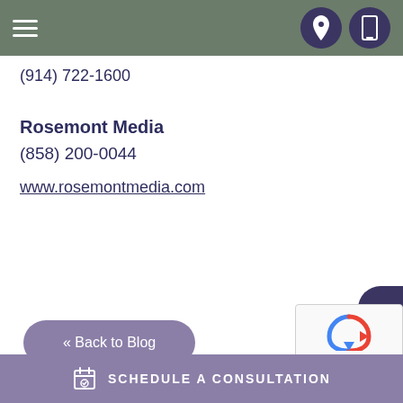Navigation bar with hamburger menu and icons
(914) 722-1600
Rosemont Media
(858) 200-0044
www.rosemontmedia.com
« Back to Blog
SCHEDULE A CONSULTATION